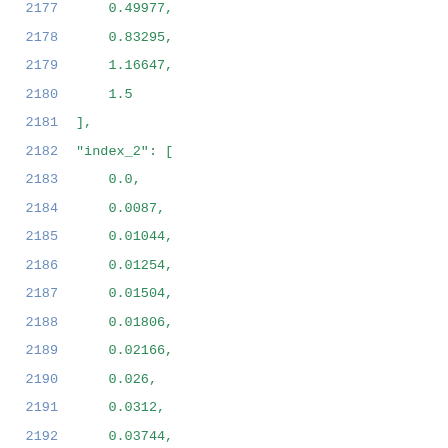2177    0.49977,
2178    0.83295,
2179    1.16647,
2180    1.5
2181    ],
2182    "index_2": [
2183    0.0,
2184    0.0087,
2185    0.01044,
2186    0.01254,
2187    0.01504,
2188    0.01806,
2189    0.02166,
2190    0.026,
2191    0.0312,
2192    0.03744,
2193    0.04493,
2194    0.05391,
2195    0.0647,
2196    0.07764,
2197    0.09317,
2198    0.1118,